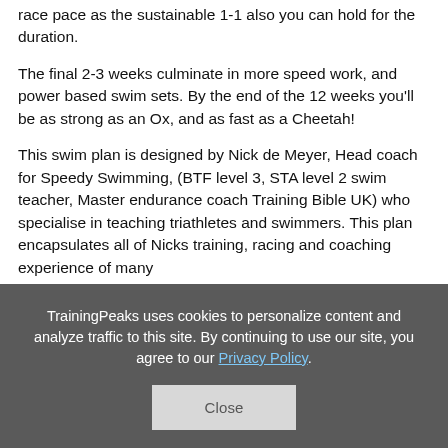race pace as the sustainable 1-1 also you can hold for the duration.
The final 2-3 weeks culminate in more speed work, and power based swim sets. By the end of the 12 weeks you'll be as strong as an Ox, and as fast as a Cheetah!
This swim plan is designed by Nick de Meyer, Head coach for Speedy Swimming, (BTF level 3, STA level 2 swim teacher, Master endurance coach Training Bible UK) who specialise in teaching triathletes and swimmers. This plan encapsulates all of Nicks training, racing and coaching experience of many
TrainingPeaks uses cookies to personalize content and analyze traffic to this site. By continuing to use our site, you agree to our Privacy Policy.
Close